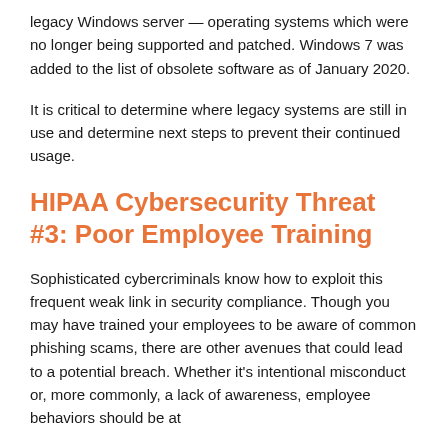legacy Windows server — operating systems which were no longer being supported and patched. Windows 7 was added to the list of obsolete software as of January 2020.
It is critical to determine where legacy systems are still in use and determine next steps to prevent their continued usage.
HIPAA Cybersecurity Threat #3: Poor Employee Training
Sophisticated cybercriminals know how to exploit this frequent weak link in security compliance. Though you may have trained your employees to be aware of common phishing scams, there are other avenues that could lead to a potential breach. Whether it's intentional misconduct or, more commonly, a lack of awareness, employee behaviors should be at